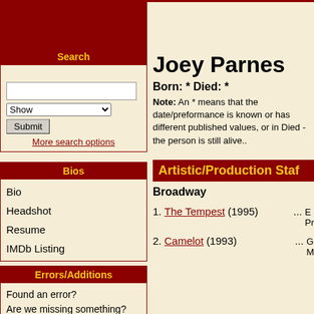Search
More search options
Joey Parnes
Born:  *  Died:  *
Note: An * means that the date/preformance is known or has different published values, or in Died - the person is still alive..
Bios
Bio
Headshot
Resume
IMDb Listing
Artistic/Production Staf
Broadway
Errors/Additions
Found an error?
Are we missing something?
1. The Tempest (1995) ... E
Pr
2. Camelot (1993) ... G
M